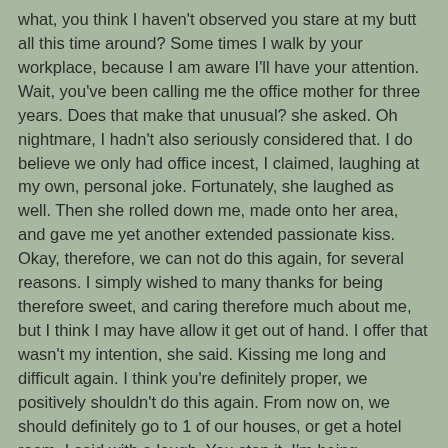what, you think I haven't observed you stare at my butt all this time around? Some times I walk by your workplace, because I am aware I'll have your attention. Wait, you've been calling me the office mother for three years. Does that make that unusual? she asked. Oh nightmare, I hadn't also seriously considered that. I do believe we only had office incest, I claimed, laughing at my own, personal joke. Fortunately, she laughed as well. Then she rolled down me, made onto her area, and gave me yet another extended passionate kiss. Okay, therefore, we can not do this again, for several reasons. I simply wished to many thanks for being therefore sweet, and caring therefore much about me, but I think I may have allow it get out of hand. I offer that wasn't my intention, she said. Kissing me long and difficult again. I think you're definitely proper, we positively shouldn't do this again. From now on, we should definitely go to 1 of our houses, or get a hotel room, I said with a laugh. You stop it, I'm being significant, she laughed. Reaching me in the shoulder playfully. Yet another long kiss. We better get fully up, before some one guides in on us. We equally remain up, and started getting her clothes. She appears so wonderful getting her panties on, and then her bra. Viewing her today,